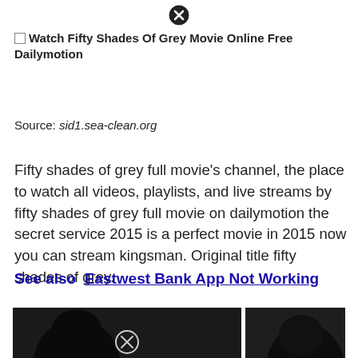[Figure (other): Close button (X in circle) at top center of page]
Watch Fifty Shades Of Grey Movie Online Free Dailymotion
Source: sid1.sea-clean.org
Fifty shades of grey full movie's channel, the place to watch all videos, playlists, and live streams by fifty shades of grey full movie on dailymotion the secret service 2015 is a perfect movie in 2015 now you can stream kingsman. Original title fifty shades of grey.
See also  Eastwest Bank App Not Working
[Figure (photo): Dark/silhouette photo of two people in black and white, split into two panels with a white divider. A close button (X in circle) overlays the bottom center of the left panel.]